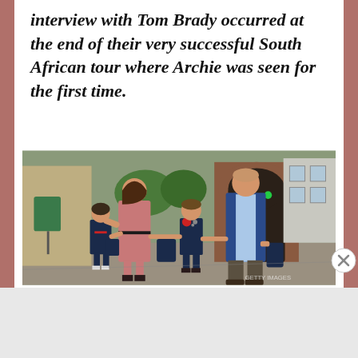interview with Tom Brady occurred at the end of their very successful South African tour where Archie was seen for the first time.
[Figure (photo): A family of four walking together outdoors near a school entrance. A woman in a floral dress holds hands with a young girl in a navy school uniform on her left, and a young boy in a navy school uniform on her right. A tall man in a blue blazer walks beside them holding a bag.]
Advertisements
[Figure (screenshot): DuckDuckGo advertisement banner. Orange left side reads: Search, browse, and email with more privacy. All in One Free App. Dark right side shows DuckDuckGo duck logo and text DuckDuckGo.]